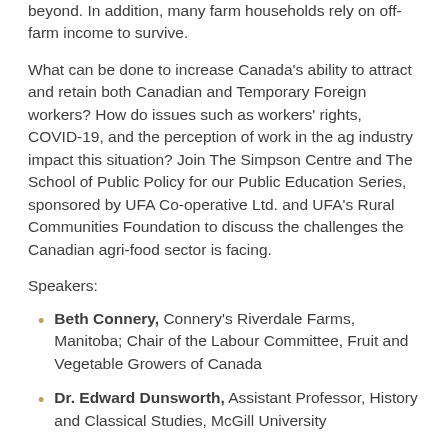beyond. In addition, many farm households rely on off-farm income to survive.
What can be done to increase Canada’s ability to attract and retain both Canadian and Temporary Foreign workers? How do issues such as workers’ rights, COVID-19, and the perception of work in the ag industry impact this situation? Join The Simpson Centre and The School of Public Policy for our Public Education Series, sponsored by UFA Co-operative Ltd. and UFA’s Rural Communities Foundation to discuss the challenges the Canadian agri-food sector is facing.
Speakers:
Beth Connery, Connery’s Riverdale Farms, Manitoba; Chair of the Labour Committee, Fruit and Vegetable Growers of Canada
Dr. Edward Dunsworth, Assistant Professor, History and Classical Studies, McGill University